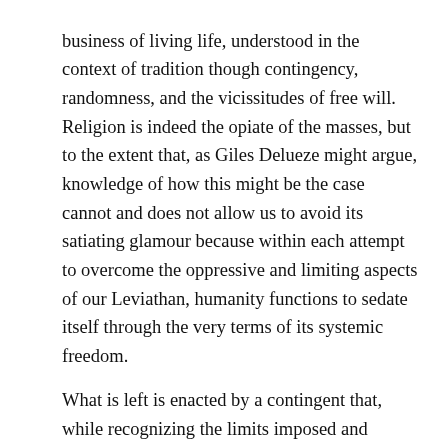business of living life, understood in the context of tradition though contingency, randomness, and the vicissitudes of free will. Religion is indeed the opiate of the masses, but to the extent that, as Giles Delueze might argue, knowledge of how this might be the case cannot and does not allow us to avoid its satiating glamour because within each attempt to overcome the oppressive and limiting aspects of our Leviathan, humanity functions to sedate itself through the very terms of its systemic freedom.
What is left is enacted by a contingent that, while recognizing the limits imposed and demanded, does not, as Zizek makes sense of the Buddhist philosophy of detachment, after all, totally comply with those limits, and indeed, lives a double life. Yet